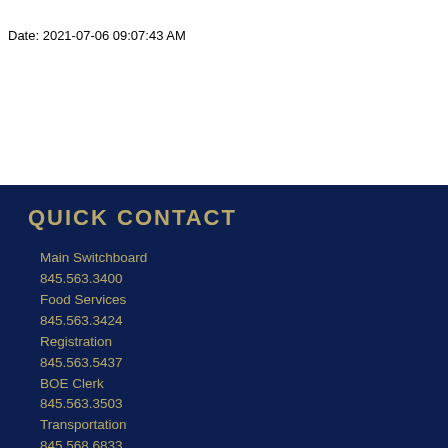Date: 2021-07-06 09:07:43 AM
QUICK CONTACT
Main Switchboard
845.563.3400
Food Services
845.563.3424
Registration
845.563.5437
BOE Clerk
845.563.3503
Transportation
845.568.6833
Payroll